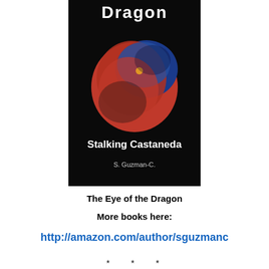[Figure (illustration): Book cover for 'The Eye of the Dragon - Stalking Castaneda' by S. Guzman-C. Black background with red and blue abstract globe/eye image. Title 'Dragon' in white at top, 'Stalking Castaneda' in white in middle, 'S. Guzman-C.' in smaller white text below.]
The Eye of the Dragon
More books here:
http://amazon.com/author/sguzmanc
* * *